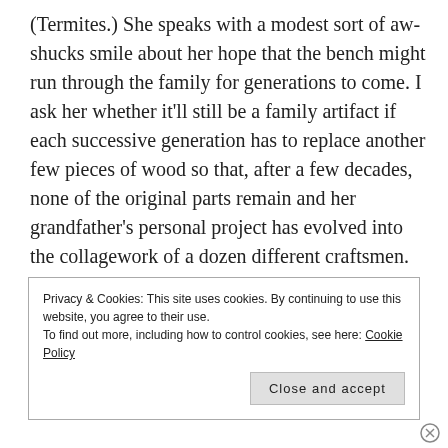(Termites.) She speaks with a modest sort of aw-shucks smile about her hope that the bench might run through the family for generations to come. I ask her whether it'll still be a family artifact if each successive generation has to replace another few pieces of wood so that, after a few decades, none of the original parts remain and her grandfather's personal project has evolved into the collagework of a dozen different craftsmen.

She thinks about this in the way that she thinks about any serious question somebody asks. Patient.
Privacy & Cookies: This site uses cookies. By continuing to use this website, you agree to their use.
To find out more, including how to control cookies, see here: Cookie Policy